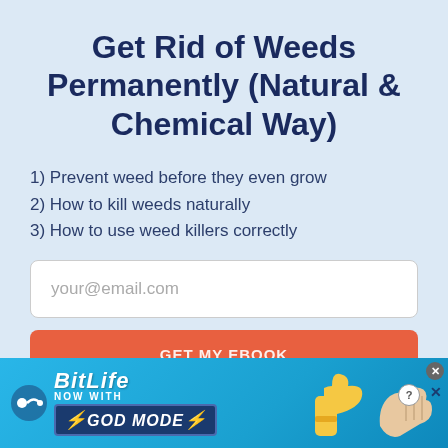Get Rid of Weeds Permanently (Natural & Chemical Way)
1) Prevent weed before they even grow
2) How to kill weeds naturally
3) How to use weed killers correctly
[Figure (screenshot): Email input field with placeholder text 'your@email.com' and a red CTA button below partially showing 'GET MY EBOOK', followed by an advertisement banner for BitLife 'NOW WITH GOD MODE' with a thumbs-up and hand illustration]